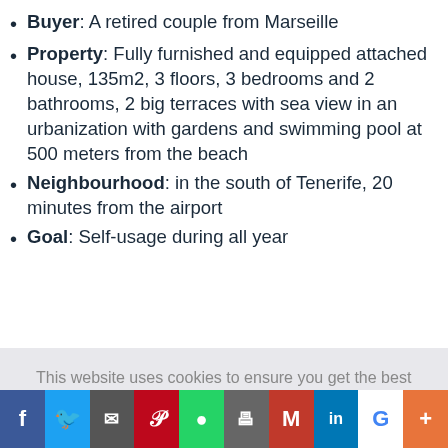Buyer: A retired couple from Marseille
Property: Fully furnished and equipped attached house, 135m2, 3 floors, 3 bedrooms and 2 bathrooms, 2 big terraces with sea view in an urbanization with gardens and swimming pool at 500 meters from the beach
Neighbourhood: in the south of Tenerife, 20 minutes from the airport
Goal: Self-usage during all year
This website uses cookies to ensure you get the best experience on our website. Have a quick look at our legal notice.
Got it!